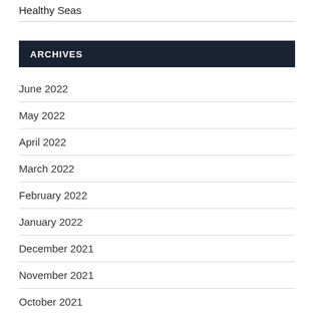Healthy Seas
ARCHIVES
June 2022
May 2022
April 2022
March 2022
February 2022
January 2022
December 2021
November 2021
October 2021
September 2021